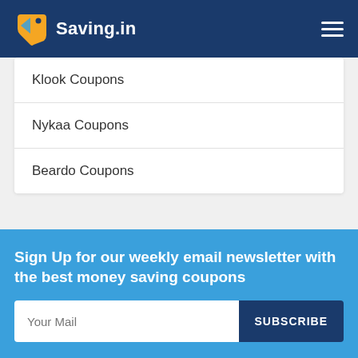Saving.in
Klook Coupons
Nykaa Coupons
Beardo Coupons
Sign Up for our weekly email newsletter with the best money saving coupons